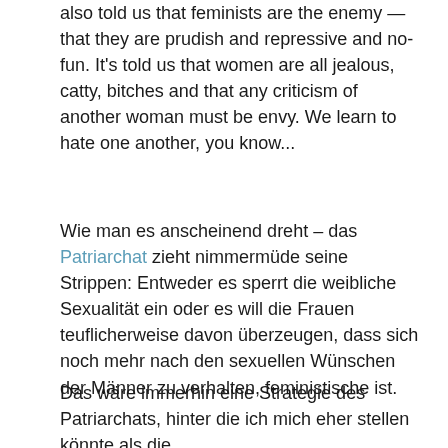also told us that feminists are the enemy — that they are prudish and repressive and no-fun. It's told us that women are all jealous, catty, bitches and that any criticism of another woman must be envy. We learn to hate one another, you know...
Wie man es anscheinend dreht – das Patriarchat zieht nimmermüde seine Strippen: Entweder es sperrt die weibliche Sexualität ein oder es will die Frauen teuflicherweise davon überzeugen, dass sich noch mehr nach den sexuellen Wünschen der Männer zu verhalten, feministische ist.
Das wäre immerhin eine Strategie des Patriarchats, hinter die ich mich eher stellen könnte als die